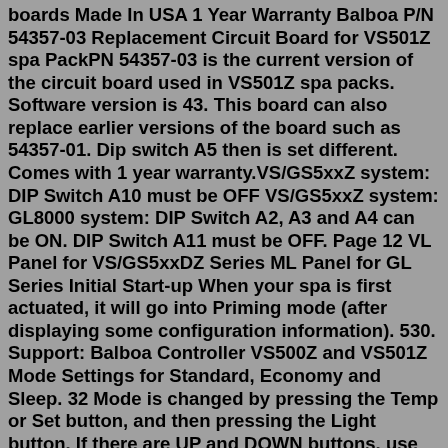boards Made In USA 1 Year Warranty Balboa P/N 54357-03 Replacement Circuit Board for VS501Z spa PackPN 54357-03 is the current version of the circuit board used in VS501Z spa packs. Software version is 43. This board can also replace earlier versions of the board such as 54357-01. Dip switch A5 then is set different. Comes with 1 year warranty.VS/GS5xxZ system: DIP Switch A10 must be OFF VS/GS5xxZ system: GL8000 system: DIP Switch A2, A3 and A4 can be ON. DIP Switch A11 must be OFF. Page 12 VL Panel for VS/GS5xxDZ Series ML Panel for GL Series Initial Start-up When your spa is first actuated, it will go into Priming mode (after displaying some configuration information). 530. Support: Balboa Controller VS500Z and VS501Z Mode Settings for Standard, Economy and Sleep. 32 Mode is changed by pressing the Temp or Set button, and then pressing the Light button. If there are UP and DOWN buttons, use the UP button. Do not press the buttons at the same time. It's one button, release, and then the other button. About Balboa Vs500z